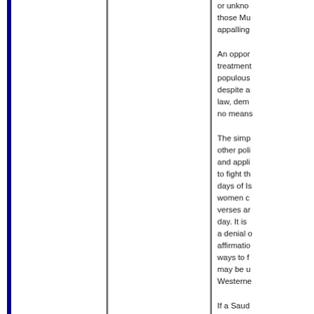or unkno those Mu appalling
An oppor treatment populous despite a law, dem no means
The simp other poli and appli to fight th days of Is women c verses ar day. It is a denial o affirmatio ways to f may be u Westernel
If a Saud Muslim fe another,